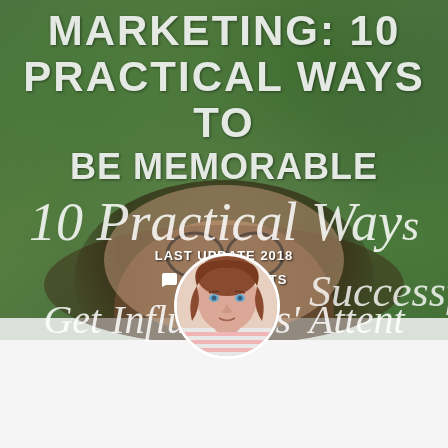[Figure (photo): Background photo of a person with glasses lying on grass, overlaid with large typographic text about influencer marketing. A circular avatar photo of a woman with brown hair appears at the bottom.]
INFLUENCER MARKETING: 10 PRACTICAL WAYS TO BE MEMORABLE
10 Practical Ways
LAST UPDATED: 2018
46 COMMENTS
Successf
Get Influencers' Attent